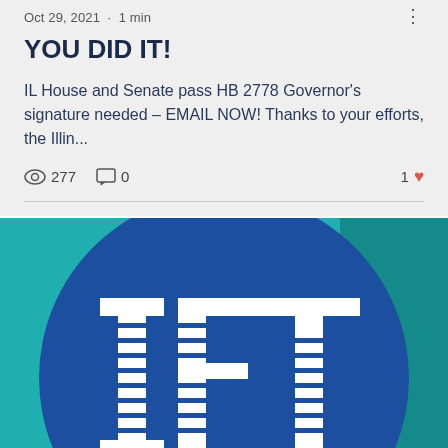Oct 29, 2021 · 1 min
YOU DID IT!
IL House and Senate pass HB 2778 Governor's signature needed – EMAIL NOW! Thanks to your efforts, the Illin…
277 views · 0 comments · 1 like
[Figure (logo): IFT (Illinois Federation of Teachers) logo — white 'IFT' letters on a blue circle with horizontal stripe details, set against a teal/turquoise background]